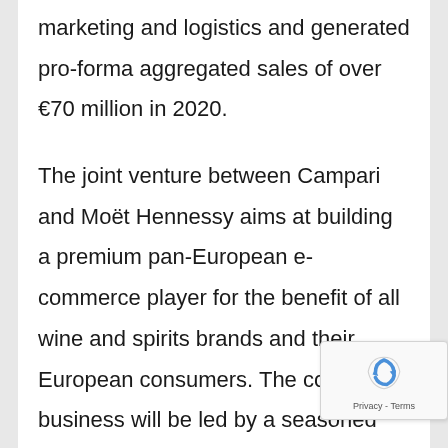marketing and logistics and generated pro-forma aggregated sales of over €70 million in 2020.
The joint venture between Campari and Moët Hennessy aims at building a premium pan-European e-commerce player for the benefit of all wine and spirits brands and their European consumers. The combined business will be led by a seasoned management team led by Marco Magnocavallo, current CEO of Tannico, who remains a key minority shareholder in the business.